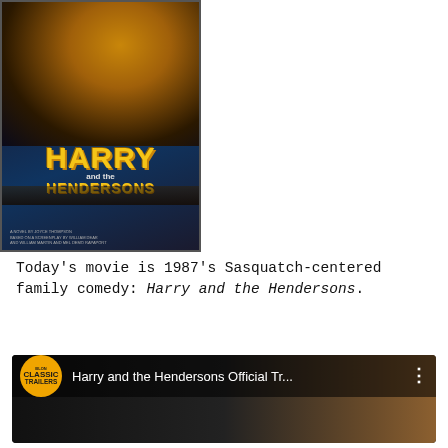[Figure (photo): Book or movie cover for 'Harry and the Hendersons' showing illustrated characters and large yellow title text]
Today's movie is 1987's Sasquatch-centered family comedy: Harry and the Hendersons.
[Figure (screenshot): YouTube video thumbnail for 'Harry and the Hendersons Official Tr...' with Classic Trailers orange badge logo on dark background]